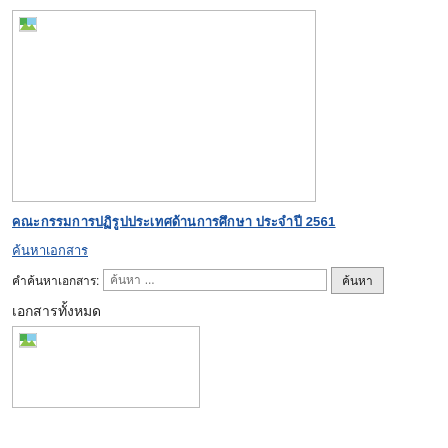[Figure (photo): Large image placeholder with broken image icon in top-left corner, bordered rectangle]
คณะกรรมการปฏิรูปประเทศด้านการศึกษา ประจำปี 2561
ค้นหาเอกสาร
คำค้นหาเอกสาร: [ค้นหา ...] [ค้นหา]
เอกสารทั้งหมด
[Figure (photo): Small image placeholder with broken image icon in top-left corner, bordered rectangle]